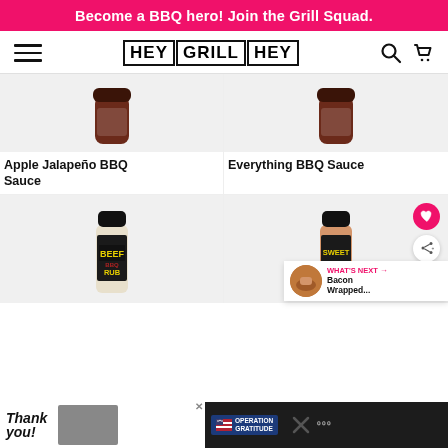Become a BBQ hero! Join the Grill Squad.
[Figure (logo): Hey Grill Hey logo with hamburger menu, search icon, and cart icon navigation]
[Figure (photo): Apple Jalapeño BBQ Sauce product jar on grey background]
Apple Jalapeño BBQ Sauce
[Figure (photo): Everything BBQ Sauce product jar on grey background]
Everything BBQ Sauce
[Figure (photo): Hey Grill Hey Beef BBQ Rub shaker on grey background]
[Figure (photo): Hey Grill Hey Sweet BBQ Rub shaker on grey background with heart and share buttons, and What's Next Bacon Wrapped... overlay]
WHAT'S NEXT → Bacon Wrapped...
[Figure (photo): Operation Gratitude advertisement banner at the bottom of the page]